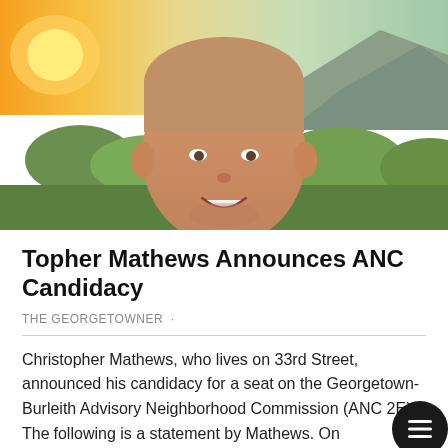[Figure (photo): Outdoor portrait of a smiling man with short hair wearing a blue/grey sweater, photographed against a background of green shrubs and mountains with a golden sunset sky.]
Topher Mathews Announces ANC Candidacy
THE GEORGETOWNER ·
Christopher Mathews, who lives on 33rd Street, announced his candidacy for a seat on the Georgetown-Burleith Advisory Neighborhood Commission (ANC 2E). The following is a statement by Mathews. On